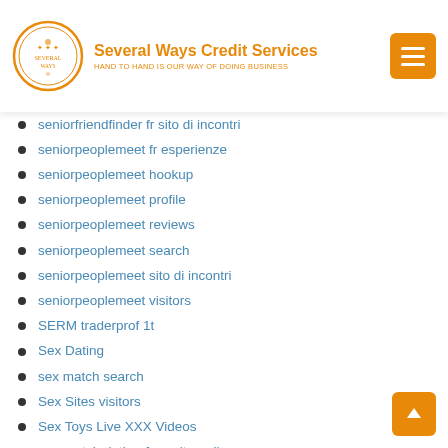Several Ways Credit Services — HAND TO HAND IS OUR WAY OF DOING BUSINESS
seniorfriendfinder fr sito di incontri
seniorpeoplemeet fr esperienze
seniorpeoplemeet hookup
seniorpeoplemeet profile
seniorpeoplemeet reviews
seniorpeoplemeet search
seniorpeoplemeet sito di incontri
seniorpeoplemeet visitors
SERM traderprof 1t
Sex Dating
sex match search
Sex Sites visitors
Sex Toys Live XXX Videos
sex-match dating-free-site-online
sex-match.org dating-sites-free-online
SexCamly Live Webcam Porn
SexCamly Token Free
SexCamly XXX Cam Chat Rooms
Sexfinder per pc